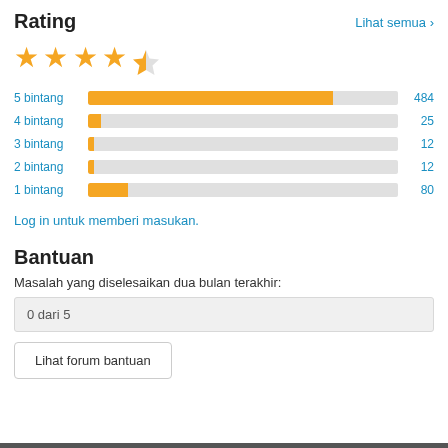Rating
Lihat semua >
[Figure (other): 4.5 out of 5 stars rating: 4 filled gold stars and 1 half-filled star]
[Figure (bar-chart): Rating breakdown]
Log in untuk memberi masukan.
Bantuan
Masalah yang diselesaikan dua bulan terakhir:
0 dari 5
Lihat forum bantuan